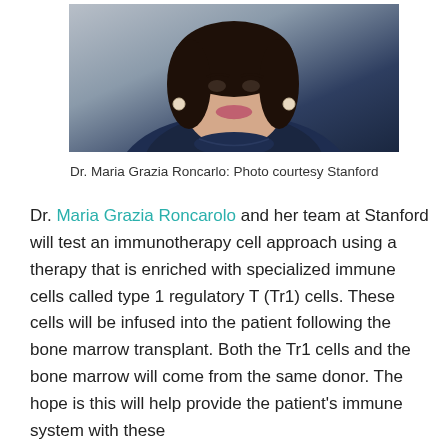[Figure (photo): Portrait photo of Dr. Maria Grazia Roncarlo, a woman with dark hair and pearl earrings, wearing a navy blue blazer, smiling, against a gray background.]
Dr. Maria Grazia Roncarlo: Photo courtesy Stanford
Dr. Maria Grazia Roncarolo and her team at Stanford will test an immunotherapy cell approach using a therapy that is enriched with specialized immune cells called type 1 regulatory T (Tr1) cells. These cells will be infused into the patient following the bone marrow transplant. Both the Tr1 cells and the bone marrow will come from the same donor. The hope is this will help provide the patient's immune system with these